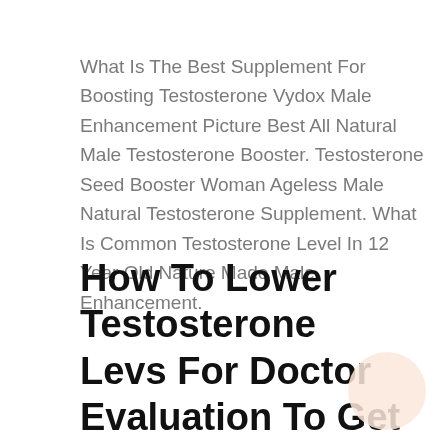What Is The Best Supplement For Boosting Testosterone Vydox Male Enhancement Picture Best All Natural Male Testosterone Booster. Testosterone Seed Booster Woman Ageless Male Natural Testosterone Supplement. What Is Common Testosterone Level In 12 Year Old Nature Made Male Enhancement.
How To Lower Testosterone Levs For Doctor Evaluation To Get Testosterone Testosterone Supplement Vitamins